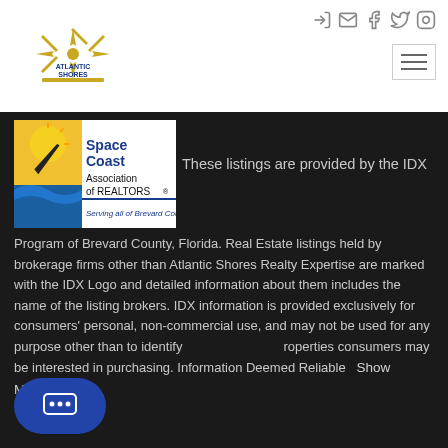[Figure (logo): Atlantic Shores Realty Expertise logo with compass star in gold/yellow]
[Figure (logo): Social media icons: login arrow, envelope, Facebook, Twitter, Instagram]
[Figure (logo): Space Coast Association of REALTORS logo with sun, wave, and airplane, Serving all of Brevard County]
These listings are provided by the IDX Program of Brevard County, Florida. Real Estate listings held by brokerage firms other than Atlantic Shores Realty Expertise are marked with the IDX Logo and detailed information about them includes the name of the listing brokers. IDX information is provided exclusively for consumers' personal, non-commercial use, and may not be used for any purpose other than to identify properties consumers may be interested in purchasing. Information Deemed Reliable   Show More...